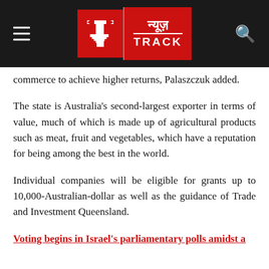[Figure (logo): NewsTrack logo on dark header bar with hamburger menu icon on left and search icon on right]
commerce to achieve higher returns, Palaszczuk added.
The state is Australia's second-largest exporter in terms of value, much of which is made up of agricultural products such as meat, fruit and vegetables, which have a reputation for being among the best in the world.
Individual companies will be eligible for grants up to 10,000-Australian-dollar as well as the guidance of Trade and Investment Queensland.
Voting begins in Israel's parliamentary polls amidst a